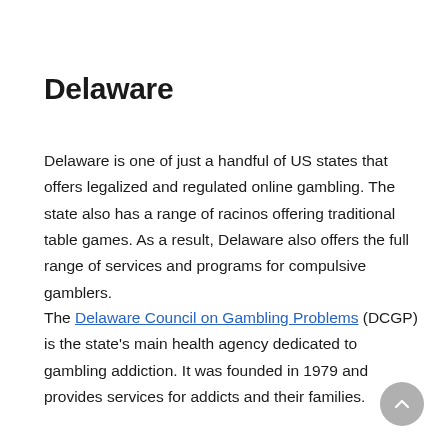Delaware
Delaware is one of just a handful of US states that offers legalized and regulated online gambling. The state also has a range of racinos offering traditional table games. As a result, Delaware also offers the full range of services and programs for compulsive gamblers.
The Delaware Council on Gambling Problems (DCGP) is the state's main health agency dedicated to gambling addiction. It was founded in 1979 and provides services for addicts and their families.